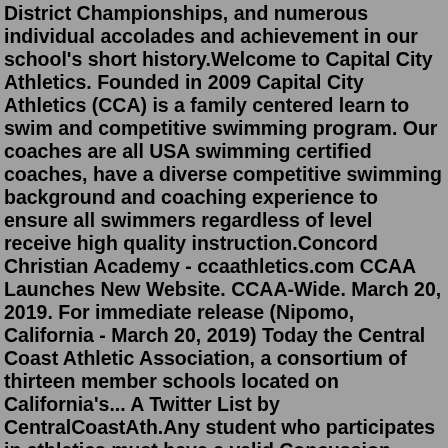District Championships, and numerous individual accolades and achievement in our school's short history.Welcome to Capital City Athletics. Founded in 2009 Capital City Athletics (CCA) is a family centered learn to swim and competitive swimming program. Our coaches are all USA swimming certified coaches, have a diverse competitive swimming background and coaching experience to ensure all swimmers regardless of level receive high quality instruction.Concord Christian Academy - ccaathletics.com CCAA Launches New Website. CCAA-Wide. March 20, 2019. For immediate release (Nipomo, California - March 20, 2019) Today the Central Coast Athletic Association, a consortium of thirteen member schools located on California's... A Twitter List by CentralCoastAth.Any student who participates in athletics must have a valid Concussion baseline test performed. This is required every 2 years. Testing is required for ALL Middle School & High School sports offered at Concord Christian Academy. Testing is available at Convenient MD.